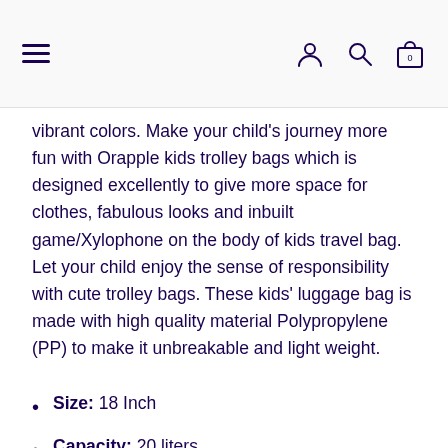Navigation header with hamburger menu, user icon, search icon, and cart icon (0 items)
vibrant colors. Make your child’s journey more fun with Orapple kids trolley bags which is designed excellently to give more space for clothes, fabulous looks and inbuilt game/Xylophone on the body of kids travel bag. Let your child enjoy the sense of responsibility with cute trolley bags. These kids’ luggage bag is made with high quality material Polypropylene (PP) to make it unbreakable and light weight.
Size: 18 Inch
Capacity: 20 liters
Cute Design: Orapple kids trolley bag comes in 5 different cute animal design Elephant, Lion, Monkey, Bear & Panda with 2 version having